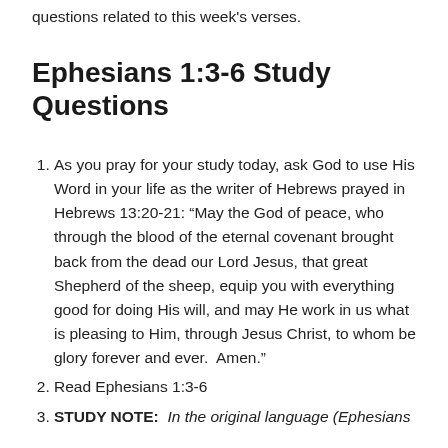questions related to this week's verses.
Ephesians 1:3-6 Study Questions
As you pray for your study today, ask God to use His Word in your life as the writer of Hebrews prayed in Hebrews 13:20-21: “May the God of peace, who through the blood of the eternal covenant brought back from the dead our Lord Jesus, that great Shepherd of the sheep, equip you with everything good for doing His will, and may He work in us what is pleasing to Him, through Jesus Christ, to whom be glory forever and ever.  Amen.”
Read Ephesians 1:3-6
STUDY NOTE:  In the original language (Ephesians was originally written in Greek) verses 3-14 are one...